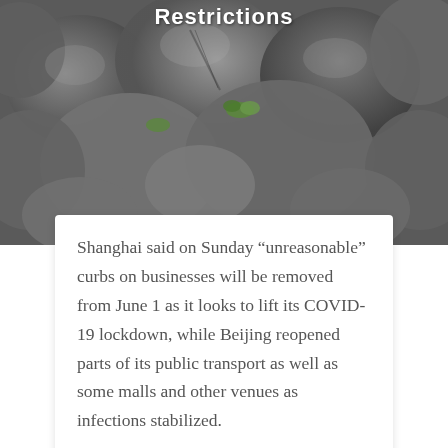[Figure (photo): Close-up photograph of grey river rocks/pebbles with some small green plants growing between them]
Restrictions
Shanghai said on Sunday “unreasonable” curbs on businesses will be removed from June 1 as it looks to lift its COVID-19 lockdown, while Beijing reopened parts of its public transport as well as some malls and other venues as infections stabilized.
The Chinese commercial hub of 25